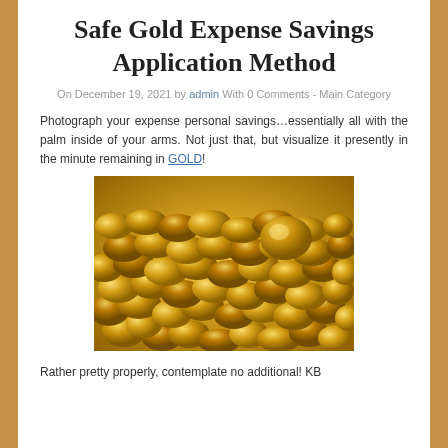Safe Gold Expense Savings Application Method
On December 19, 2021 by admin With 0 Comments - Main Category
Photograph your expense personal savings…essentially all with the palm inside of your arms. Not just that, but visualize it presently in the minute remaining in GOLD!
[Figure (photo): Close-up photograph of many small gold nuggets or pellets piled together, showing shiny golden metallic surfaces.]
Rather pretty properly, contemplate no additional! KB